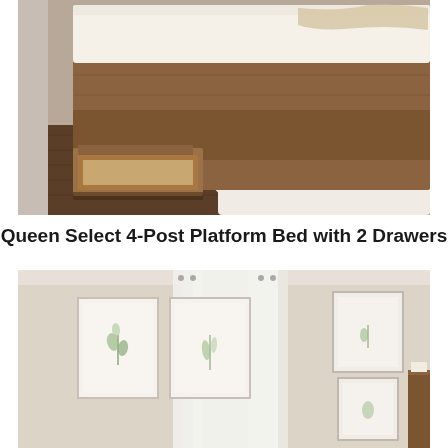[Figure (photo): Close-up photo of a wooden platform bed with storage drawers pulled open, showing light wood grain finish. White mattress on top, white shag rug and dark hardwood floor visible.]
Queen Select 4-Post Platform Bed with 2 Drawers
[Figure (photo): Bedroom interior photo showing a cream/beige wall with three framed botanical prints arranged in a gallery. White curtain panels in the background, dark wood furniture visible at right edge.]